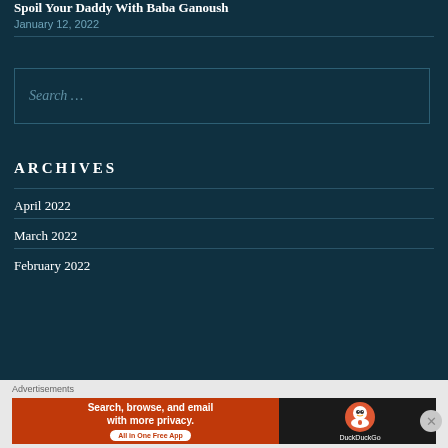Spoil Your Daddy With Baba Ganoush
January 12, 2022
Search …
ARCHIVES
April 2022
March 2022
February 2022
Advertisements
[Figure (infographic): DuckDuckGo advertisement banner: 'Search, browse, and email with more privacy. All in One Free App' with DuckDuckGo logo on dark background.]